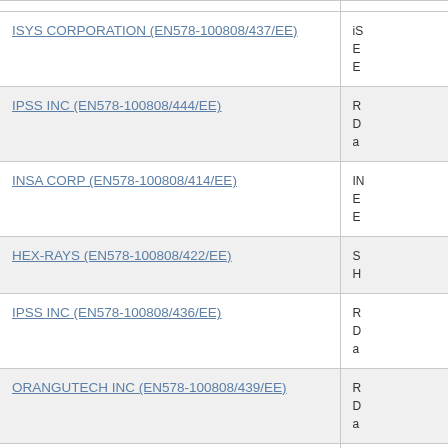| Vendor / Contract | Details (partial) |
| --- | --- |
| ISYS CORPORATION (EN578-100808/437/EE) | iS
E
E |
| IPSS INC (EN578-100808/444/EE) | R
D
a |
| INSA CORP (EN578-100808/414/EE) | IN
E
E |
| HEX-RAYS (EN578-100808/422/EE) | S
H |
| IPSS INC (EN578-100808/436/EE) | R
D
a |
| ORANGUTECH INC (EN578-100808/439/EE) | R
D
a |
| OPTIV CANADA FEDERAL INC. (EN578-100808/416/EE) | S
1 |